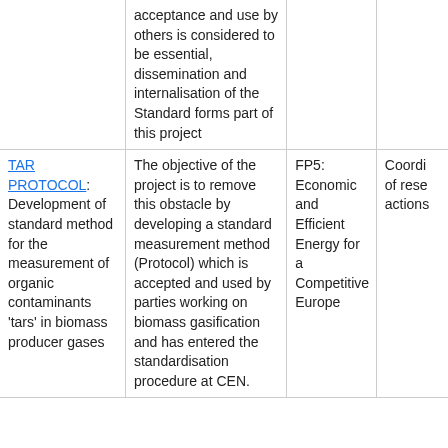|  | acceptance and use by others is considered to be essential, dissemination and internalisation of the Standard forms part of this project |  |  |
| TAR PROTOCOL: Development of standard method for the measurement of organic contaminants 'tars' in biomass producer gases | The objective of the project is to remove this obstacle by developing a standard measurement method (Protocol) which is accepted and used by parties working on biomass gasification and has entered the standardisation procedure at CEN. | FP5: Economic and Efficient Energy for a Competitive Europe | Coordi of rese actions |